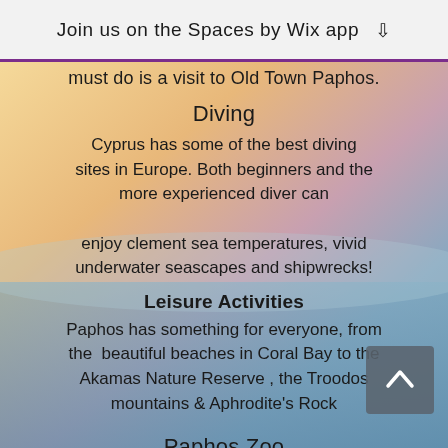Join us on the Spaces by Wix app ↓
must do is a visit to Old Town Paphos.
Diving
Cyprus has some of the best diving sites in Europe. Both beginners and the more experienced diver can enjoy clement sea temperatures, vivid underwater seascapes and shipwrecks!
Leisure Activities
Paphos has something for everyone, from the beautiful beaches in Coral Bay to the Akamas Nature Reserve , the Troodos mountains & Aphrodite's Rock
Paphos Zoo
Originally opened as a bird sanctuary it is now home to an extensive collection of